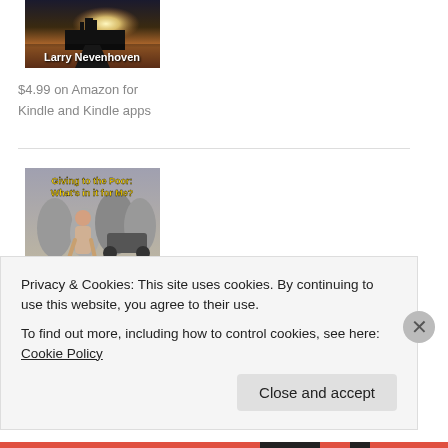[Figure (illustration): Book cover image showing a castle/ruins with sunset light, with text 'Larry Nevenhoven' in white bold letters]
$4.99 on Amazon for Kindle and Kindle apps
[Figure (illustration): Book cover image with a woman walking away in a crowd, title reads 'Giving to the Poor: What's in it for Me?' in yellow bold text]
Privacy & Cookies: This site uses cookies. By continuing to use this website, you agree to their use.
To find out more, including how to control cookies, see here: Cookie Policy